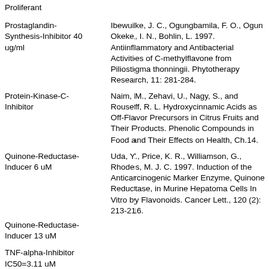Proliferant
Prostaglandin-Synthesis-Inhibitor 40 ug/ml
Ibewuike, J. C., Ogungbamila, F. O., Ogun Okeke, I. N., Bohlin, L. 1997. Antiinflammatory and Antibacterial Activities of C-methylflavone from Piliostigma thonningii. Phytotherapy Research, 11: 281-284.
Protein-Kinase-C-Inhibitor
Naim, M., Zehavi, U., Nagy, S., and Rouseff, R. L. Hydroxycinnamic Acids as Off-Flavor Precursors in Citrus Fruits and Their Products. Phenolic Compounds in Food and Their Effects on Health, Ch.14.
Quinone-Reductase-Inducer 6 uM
Uda, Y., Price, K. R., Williamson, G., Rhodes, M. J. C. 1997. Induction of the Anticarcinogenic Marker Enzyme, Quinone Reductase, in Murine Hepatoma Cells In Vitro by Flavonoids. Cancer Lett., 120 (2): 213-216.
Quinone-Reductase-Inducer 13 uM
TNF-alpha-Inhibitor IC50=3.11 uM
Teratologic
Topoisomerase-I-Inhibitor IC50=12.8 ug/ml
Topoisomerase-I-Inhibitor IC50=45 uM